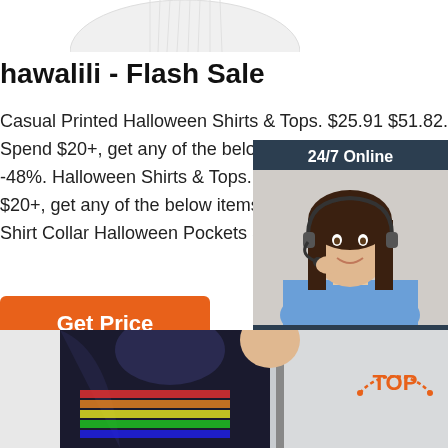[Figure (photo): Top portion of a circular/cylindrical product (white), partially cropped at top]
hawalili - Flash Sale
Casual Printed Halloween Shirts & Tops. $25.91 $51.82. Spend $20+, get any of the below items fr -48%. Halloween Shirts & Tops. $25.91 $4 $20+, get any of the below items from $5. Shirt Collar Halloween Pockets Shirts & T
[Figure (photo): 24/7 Online customer service chat widget with a woman wearing a headset, smiling. Dark blue/navy background. Text: '24/7 Online', 'Click here for free chat!', orange button 'QUOTATION']
Get Price
[Figure (photo): Bottom section showing a mannequin or person wearing a dark (navy) shirt with colorful rainbow stripes, in a clothing store setting. Orange 'TOP' badge with dotted arc in bottom right area.]